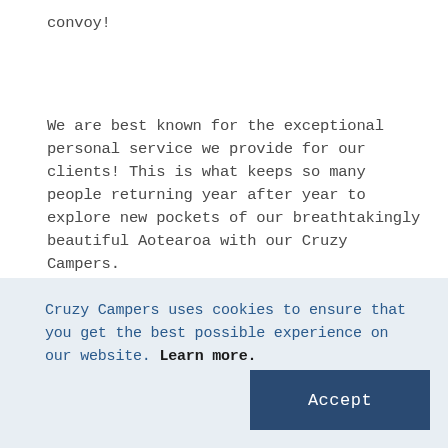convoy!
We are best known for the exceptional personal service we provide for our clients! This is what keeps so many people returning year after year to explore new pockets of our breathtakingly beautiful Aotearoa with our Cruzy Campers.
Each of one us has role in the business. This makes it easy to ensure we are personally available if our clients should need they a hand along the way. Also, because we know everyone so well, it is easy to ensure our clients feel
Cruzy Campers uses cookies to ensure that you get the best possible experience on our website. Learn more.
Accept